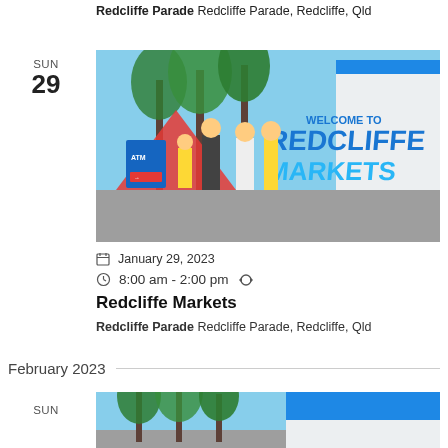Redcliffe Parade Redcliffe Parade, Redcliffe, Qld
SUN
29
[Figure (photo): Outdoor market scene with families walking past a large blue 'Welcome to Redcliffe Markets' sign, palm trees in the background, sunny day.]
January 29, 2023
8:00 am - 2:00 pm
Redcliffe Markets
Redcliffe Parade Redcliffe Parade, Redcliffe, Qld
February 2023
[Figure (photo): Partial view of outdoor market or event with palm trees and blue tent/structure, similar to the one above.]
SUN